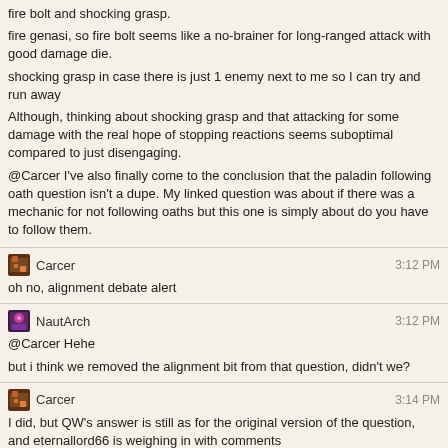fire bolt and shocking grasp.
fire genasi, so fire bolt seems like a no-brainer for long-ranged attack with good damage die.
shocking grasp in case there is just 1 enemy next to me so I can try and run away
Although, thinking about shocking grasp and that attacking for some damage with the real hope of stopping reactions seems suboptimal compared to just disengaging.
@Carcer I've also finally come to the conclusion that the paladin following oath question isn't a dupe. My linked question was about if there was a mechanic for not following oaths but this one is simply about do you have to follow them.
Carcer 3:12 PM
oh no, alignment debate alert
NautArch 3:12 PM
@Carcer Hehe
but i think we removed the alignment bit from that question, didn't we?
Carcer 3:14 PM
I did, but QW's answer is still as for the original version of the question, and eternallord66 is weighing in with comments
I admit I am halfway inclined to edit again and readd the mention of alignment so that their answer makes sense again
NautArch 3:15 PM
@Carcer ah. There were definitely a couple of questions in there. I'd voted to close for them to focus, but after they accepted QW's, I undid it. Now I'm not sure that was right.
Carcer 3:15 PM
but we need to not be debating alignment in comments